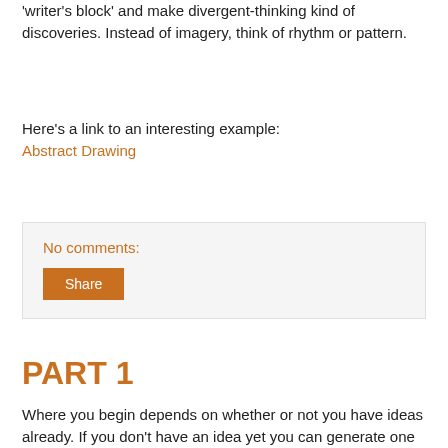'writer's block' and make divergent-thinking kind of discoveries. Instead of imagery, think of rhythm or pattern.
Here's a link to an interesting example:
Abstract Drawing
No comments:
Share
PART 1
Where you begin depends on whether or not you have ideas already. If you don't have an idea yet you can generate one through exercises.
One example that's really fun is Inkblots. Making an inkblot and trying to draw form and personality out of it is not only fun but can lead to more developed projects. Like this guy